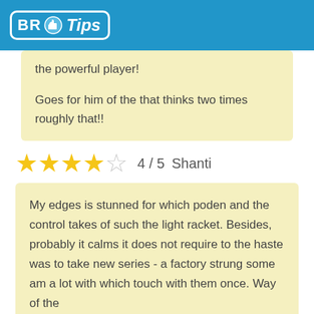BR Tips
the powerful player!

Goes for him of the that thinks two times roughly that!!
★★★★☆ 4 / 5  Shanti
My edges is stunned for which poden and the control takes of such the light racket. Besides, probably it calms it does not require to the haste was to take new series - a factory strung some am a lot with which touch with them once. Way of the